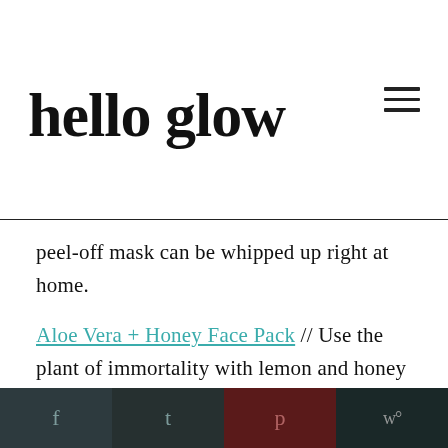hello glow
peel-off mask can be whipped up right at home.
Aloe Vera + Honey Face Pack // Use the plant of immortality with lemon and honey to make this simple face pack to reduce inflammation and brighten skin.
f  t  p  w°